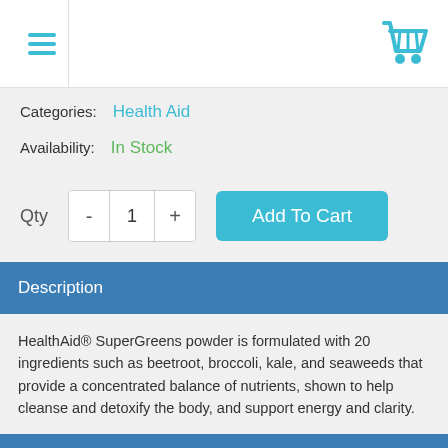[Figure (screenshot): Top navigation bar with hamburger menu icon and shopping cart icon]
Categories: Health Aid
Availability: In Stock
Qty  -  1  +  Add To Cart
Description
HealthAid® SuperGreens powder is formulated with 20 ingredients such as beetroot, broccoli, kale, and seaweeds that provide a concentrated balance of nutrients, shown to help cleanse and detoxify the body, and support energy and clarity.
Ingredients